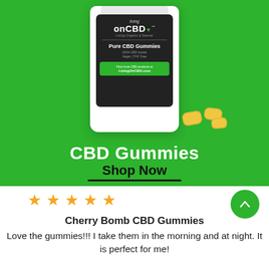[Figure (photo): Living on CBD Pure CBD Gummies product bag shown on a green background with gummy candies beside it, along with text 'CBD Gummies' and a 'Shop Now' link with underline]
★★★★★
Cherry Bomb CBD Gummies
Love the gummies!!! I take them in the morning and at night. It is perfect for me!